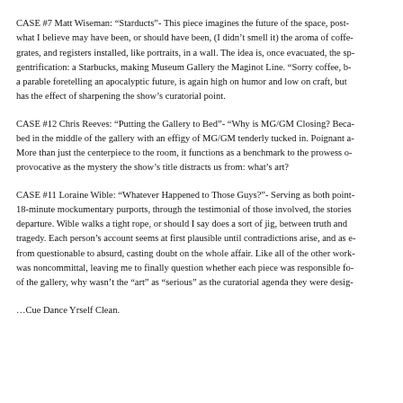CASE #7 Matt Wiseman: “Starducts”- This piece imagines the future of the space, post- what I believe may have been, or should have been, (I didn’t smell it) the aroma of coffe- grates, and registers installed, like portraits, in a wall. The idea is, once evacuated, the sp- gentrification: a Starbucks, making Museum Gallery the Maginot Line. “Sorry coffee, b- a parable foretelling an apocalyptic future, is again high on humor and low on craft, but has the effect of sharpening the show’s curatorial point.
CASE #12 Chris Reeves: “Putting the Gallery to Bed”- “Why is MG/GM Closing? Beca- bed in the middle of the gallery with an effigy of MG/GM tenderly tucked in. Poignant a- More than just the centerpiece to the room, it functions as a benchmark to the prowess o- provocative as the mystery the show’s title distracts us from: what’s art?
CASE #11 Loraine Wible: “Whatever Happened to Those Guys?”- Serving as both point- 18-minute mockumentary purports, through the testimonial of those involved, the stories departure. Wible walks a tight rope, or should I say does a sort of jig, between truth and tragedy. Each person’s account seems at first plausible until contradictions arise, and as e- from questionable to absurd, casting doubt on the whole affair. Like all of the other work- was noncommittal, leaving me to finally question whether each piece was responsible fo- of the gallery, why wasn’t the “art” as “serious” as the curatorial agenda they were desig-
…Cue Dance Yrself Clean.